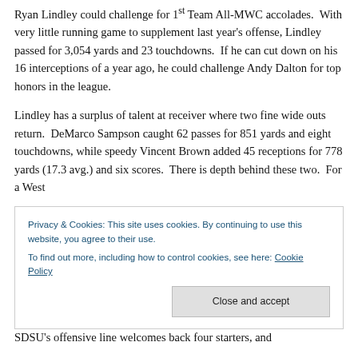Ryan Lindley could challenge for 1st Team All-MWC accolades. With very little running game to supplement last year's offense, Lindley passed for 3,054 yards and 23 touchdowns. If he can cut down on his 16 interceptions of a year ago, he could challenge Andy Dalton for top honors in the league.
Lindley has a surplus of talent at receiver where two fine wide outs return. DeMarco Sampson caught 62 passes for 851 yards and eight touchdowns, while speedy Vincent Brown added 45 receptions for 778 yards (17.3 avg.) and six scores. There is depth behind these two. For a West
Privacy & Cookies: This site uses cookies. By continuing to use this website, you agree to their use.
To find out more, including how to control cookies, see here: Cookie Policy
Close and accept
SDSU's offensive line welcomes back four starters, and